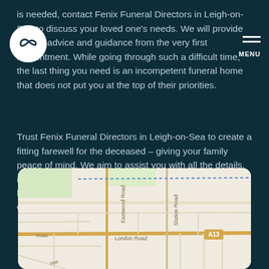is needed, contact Fenix Funeral Directors in Leigh-on-Sea to discuss your loved one's needs. We will provide honest advice and guidance from the very first appointment. While going through such a difficult time, the last thing you need is an incompetent funeral home that does not put you at the top of their priorities.
Trust Fenix Funeral Directors in Leigh-on-Sea to create a fitting farewell for the deceased – giving your family peace of mind. We aim to assist you with all the details, including the funeral costs. Contact us during opening hours or fill in the enquiry form on our website, and we will get back to you within 24 hours.
[Figure (map): Street map showing London Road, Eastwood Road, Station Road, and A13 in Leigh-on-Sea area]